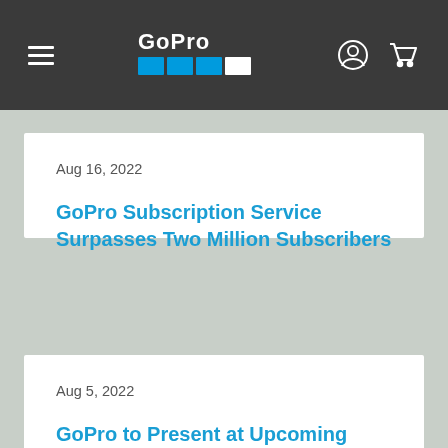GoPro navigation header with hamburger menu, GoPro logo, account icon, and cart icon
Aug 16, 2022
GoPro Subscription Service Surpasses Two Million Subscribers
Aug 5, 2022
GoPro to Present at Upcoming Investor Conference